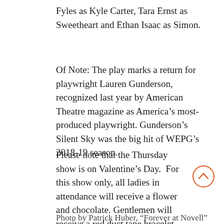Fyles as Kyle Carter, Tara Ernst as Sweetheart and Ethan Isaac as Simon.
Of Note: The play marks a return for playwright Lauren Gunderson, recognized last year by American Theatre magazine as America’s most-produced playwright. Gunderson’s Silent Sky was the big hit of WEPG’s 2018-19 season.
Please note that the Thursday show is on Valentine’s Day.  For this show only, all ladies in attendance will receive a flower and chocolate. Gentlemen will receive a red duct tape bracelet.
Photo by Patrick Huber, “Forever at Novell” St...